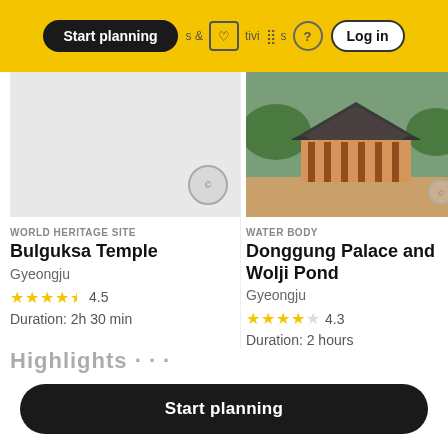Start planning | & tivities | ? | Log in
WORLD HERITAGE SITE
Bulguksa Temple
Gyeongju
4.5
Duration: 2h 30 min
WATER BODY
Donggung Palace and Wolji Pond
Gyeongju
4.3
Duration: 2 hours
W (clipped third card category)
Start planning (bottom button)